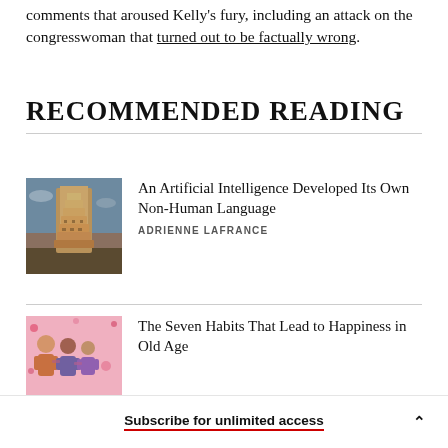comments that aroused Kelly's fury, including an attack on the congresswoman that turned out to be factually wrong.
RECOMMENDED READING
An Artificial Intelligence Developed Its Own Non-Human Language — ADRIENNE LAFRANCE
The Seven Habits That Lead to Happiness in Old Age
Subscribe for unlimited access